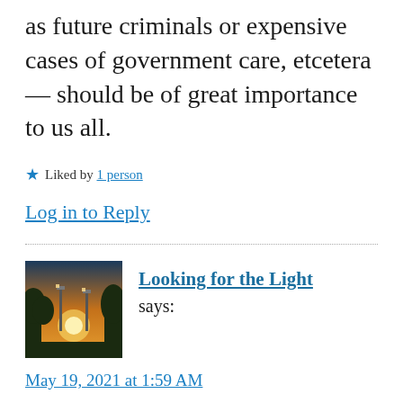as future criminals or expensive cases of government care, etcetera — should be of great importance to us all.
★ Liked by 1 person
Log in to Reply
[Figure (photo): Small avatar thumbnail showing a sunset through trees with street lamps]
Looking for the Light says:
May 19, 2021 at 1:59 AM